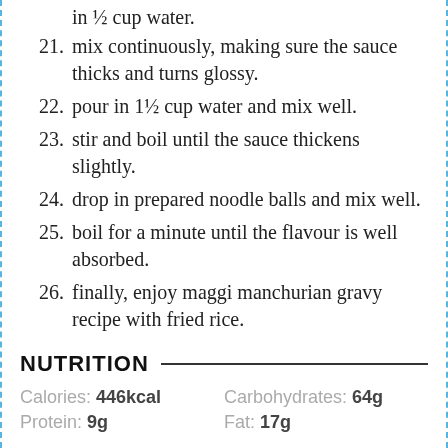in ½ cup water.
21. mix continuously, making sure the sauce thicks and turns glossy.
22. pour in 1½ cup water and mix well.
23. stir and boil until the sauce thickens slightly.
24. drop in prepared noodle balls and mix well.
25. boil for a minute until the flavour is well absorbed.
26. finally, enjoy maggi manchurian gravy recipe with fried rice.
NUTRITION
Calories: 446kcal    Carbohydrates: 64g
Protein: 9g    Fat: 17g